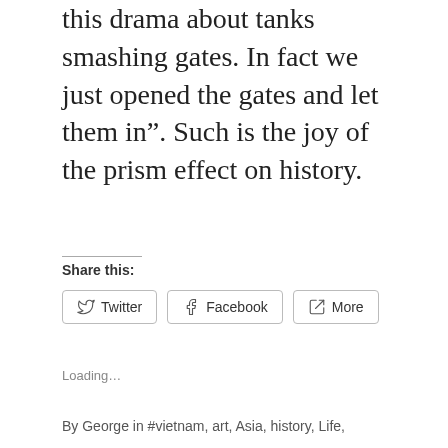this drama about tanks smashing gates. In fact we just opened the gates and let them in”. Such is the joy of the prism effect on history.
Share this:
Twitter  Facebook  More
Loading…
By George in #vietnam, art, Asia, history, Life,